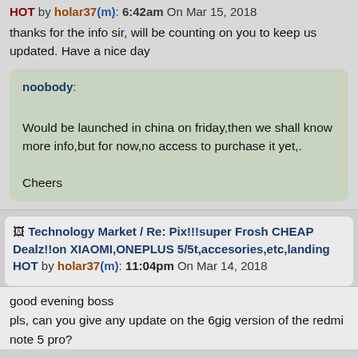HOT by holar37(m): 6:42am On Mar 15, 2018
thanks for the info sir, will be counting on you to keep us updated. Have a nice day
noobody:
Would be launched in china on friday,then we shall know more info,but for now,no access to purchase it yet,.

Cheers
Technology Market / Re: Pix!!!super Frosh CHEAP Dealz!!on XIAOMI,ONEPLUS 5/5t,accesories,etc,landing HOT by holar37(m): 11:04pm On Mar 14, 2018
good evening boss
pls, can you give any update on the 6gig version of the redmi note 5 pro?